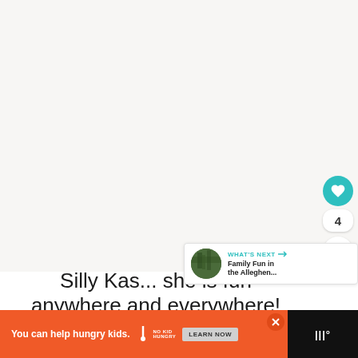[Figure (other): Large blank/light beige area representing a photo or content area (mostly empty/white)]
[Figure (illustration): Circular teal heart button with like icon, count badge showing 4, and share button below on right sidebar]
[Figure (other): "WHAT'S NEXT" promo bar with forest thumbnail and text "Family Fun in the Alleghen..."]
Silly Kas... she is fun anywhere and everywhere!
[Figure (infographic): Orange advertisement banner: 'You can help hungry kids.' with No Kid Hungry logo and LEARN NOW button, with X close button. Black right section with Wunderlist-style logo.]